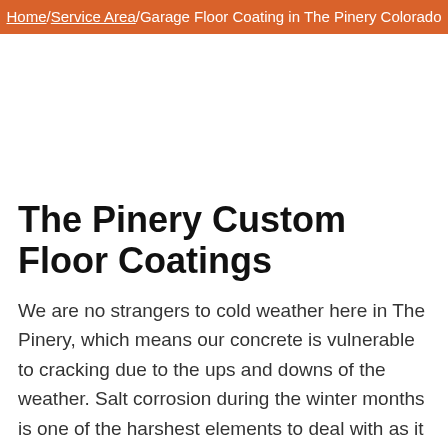Home/Service Area/Garage Floor Coating in The Pinery Colorado
The Pinery Custom Floor Coatings
We are no strangers to cold weather here in The Pinery, which means our concrete is vulnerable to cracking due to the ups and downs of the weather. Salt corrosion during the winter months is one of the harshest elements to deal with as it will start to cause pitting and cracking of concrete. Floor